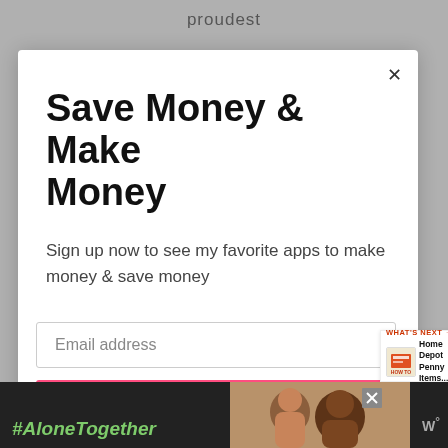proudest
Save Money & Make Money
Sign up now to see my favorite apps to make money & save money
Email address
Get It Now
WHAT'S NEXT → Home Depot Penny Items...
#AloneTogether